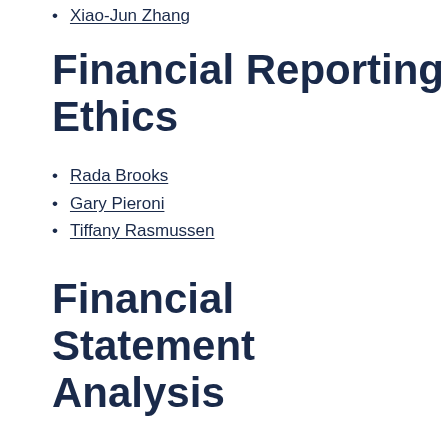Xiao-Jun Zhang
Financial Reporting Ethics
Rada Brooks
Gary Pieroni
Tiffany Rasmussen
Financial Statement Analysis